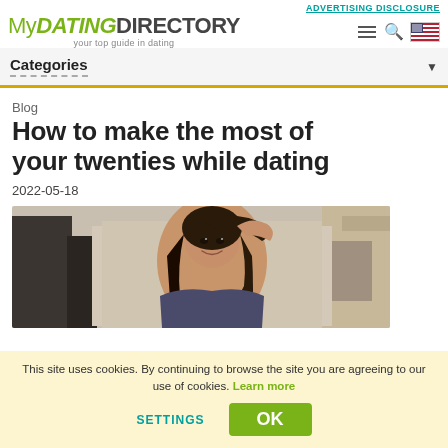ADVERTISING DISCLOSURE
MyDATINGDIRECTORY — your top guide in dating
Categories
Blog
How to make the most of your twenties while dating
2022-05-18
[Figure (photo): Young woman smiling, hand raised to her hair, outdoors with blurred building background]
This site uses cookies. By continuing to browse the site you are agreeing to our use of cookies. Learn more